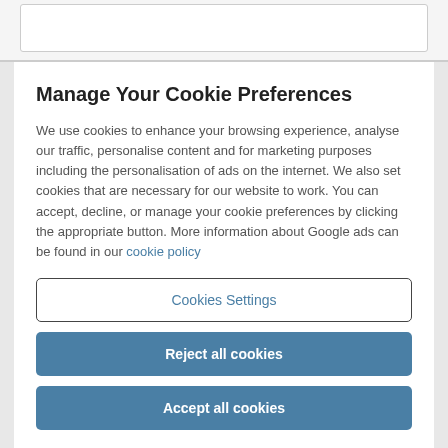Manage Your Cookie Preferences
We use cookies to enhance your browsing experience, analyse our traffic, personalise content and for marketing purposes including the personalisation of ads on the internet. We also set cookies that are necessary for our website to work. You can accept, decline, or manage your cookie preferences by clicking the appropriate button. More information about Google ads can be found in our cookie policy
Cookies Settings
Reject all cookies
Accept all cookies